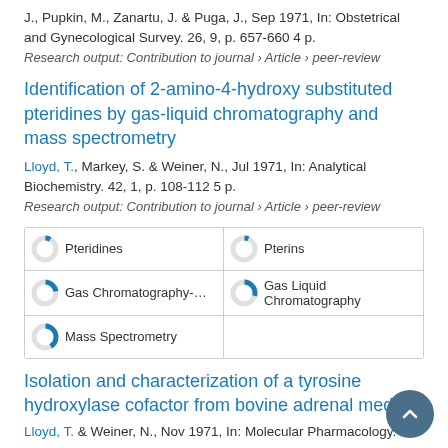J., Pupkin, M., Zanartu, J. & Puga, J., Sep 1971, In: Obstetrical and Gynecological Survey. 26, 9, p. 657-660 4 p.
Research output: Contribution to journal › Article › peer-review
Identification of 2-amino-4-hydroxy substituted pteridines by gas-liquid chromatography and mass spectrometry
Lloyd, T., Markey, S. & Weiner, N., Jul 1971, In: Analytical Biochemistry. 42, 1, p. 108-112 5 p.
Research output: Contribution to journal › Article › peer-review
[Figure (infographic): Five keyword/topic badges arranged in a 2-column grid with donut chart icons: Pteridines, Pterins, Gas Chromatography-Mass Spectrometry, Gas Liquid Chromatography, Mass Spectrometry]
Isolation and characterization of a tyrosine hydroxylase cofactor from bovine adrenal medullla
Lloyd, T. & Weiner, N., Nov 1971, In: Molecular Pharmacology. 7,